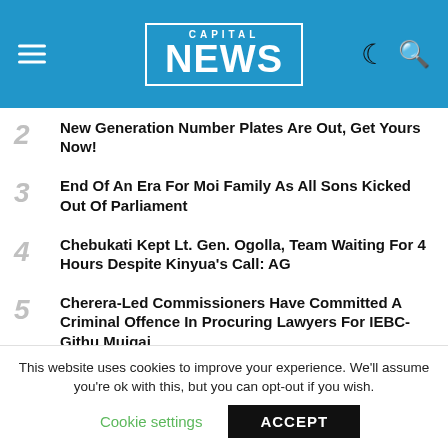CAPITAL NEWS
2 New Generation Number Plates Are Out, Get Yours Now!
3 End Of An Era For Moi Family As All Sons Kicked Out Of Parliament
4 Chebukati Kept Lt. Gen. Ogolla, Team Waiting For 4 Hours Despite Kinyua's Call: AG
5 Cherera-Led Commissioners Have Committed A Criminal Offence In Procuring Lawyers For IEBC-Githu Muigai
6 President-Elect Ruto, Azimio, IEBC Allowed 4 Lawyers Each As Guidelines On Presidential Suit Released
7 Vote Re-Count Reveals Empty Form 34A In Majengo,
This website uses cookies to improve your experience. We'll assume you're ok with this, but you can opt-out if you wish.
Cookie settings  ACCEPT